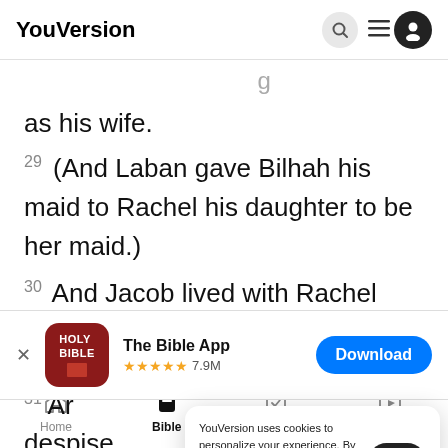YouVersion
as his wife.
29 (And Laban gave Bilhah his maid to Rachel his daughter to be her maid.)
30 And Jacob lived with Rachel also as his wife,
[Figure (screenshot): App download banner for The Bible App with 5 stars rating and 7.9M reviews, with a Download button]
YouVersion uses cookies to personalize your experience. By using our website, you accept our use of cookies as described in our Privacy Policy.
Home Bible Plans Videos